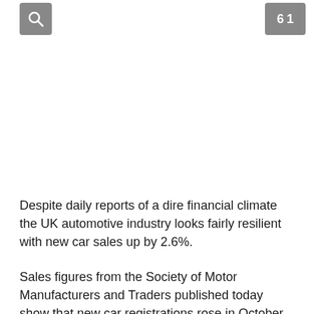Search icon and badge icon
Despite daily reports of a dire financial climate the UK automotive industry looks fairly resilient with new car sales up by 2.6%.
Sales figures from the Society of Motor Manufacturers and Traders published today show that new car registrations rose in October to 134,944 vehicles, the second increase in the...